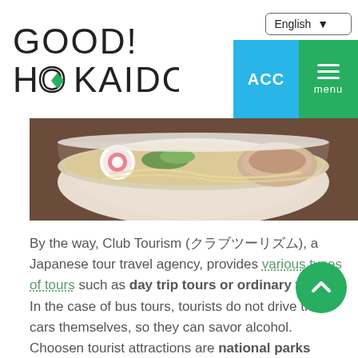GOOD! HOKKAIDO!
[Figure (photo): A bowl of ramen with fish cake, green onions, and pork slices in broth]
By the way, Club Tourism (クラブツーリズム), a Japanese tour travel agency, provides various types of tours such as day trip tours or ordinary tours. In the case of bus tours, tourists do not drive their cars themselves, so they can savor alcohol. Choosen tourist attractions are national parks such as Rishiri and Rebun, Shiretoko, and popular tourist places such as Furano and Biei, and some activities such as hiking and fruit picking are also enjoyed depending on seasons. If you are interested in tour trips, you should visit the club tourism's website for details.